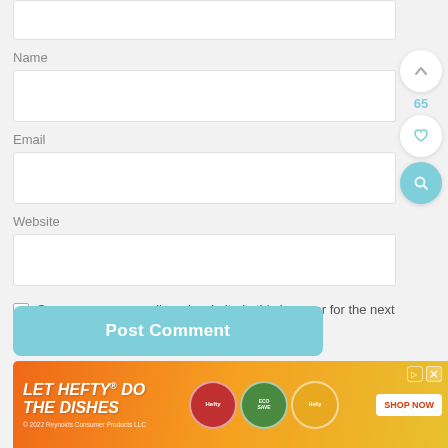[Figure (screenshot): Top of a comment form showing a partially visible textarea input field]
Name
[Figure (screenshot): Name input field (empty text box)]
Email
[Figure (screenshot): Email input field (empty text box)]
Website
[Figure (screenshot): Website input field (empty text box)]
Save my name, email, and website in this browser for the next time I comment.
[Figure (screenshot): Post Comment button (teal/light blue rounded rectangle)]
[Figure (screenshot): Side UI: up-arrow circle button, count 65, heart circle button, search teal circle button]
[Figure (screenshot): Advertisement banner: LET HEFTY DO THE DISHES - Reynolds Consumer Products LLC, SHOP NOW button, product images]